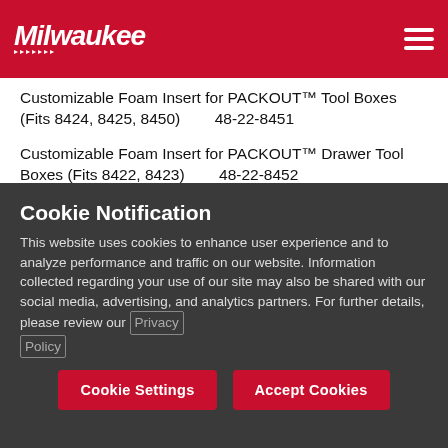Milwaukee Tool — Navigation header with logo and hamburger menu
Customizable Foam Insert for PACKOUT™ Tool Boxes (Fits 8424, 8425, 8450)    48-22-8451
Customizable Foam Insert for PACKOUT™ Drawer Tool Boxes (Fits 8422, 8423)    48-22-8452
Mounting Plates
PACKOUT™ Mounting Plate...
Cookie Notification
This website uses cookies to enhance user experience and to analyze performance and traffic on our website. Information collected regarding your use of our site may also be shared with our social media, advertising, and analytics partners. For further details, please review our Privacy Policy
Cookie Settings    Accept Cookies